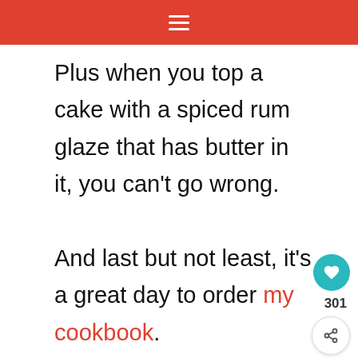≡
Plus when you top a cake with a spiced rum glaze that has butter in it, you can't go wrong.

And last but not least, it's a great day to order my cookbook.
[Figure (screenshot): Video thumbnail showing dark background with 'What's Next' overlay showing a food image and text 'Whiskey Glazed Spic...' and a blue bar at bottom with text: "Let's hang out and talk!" with a podcast/media logo.]